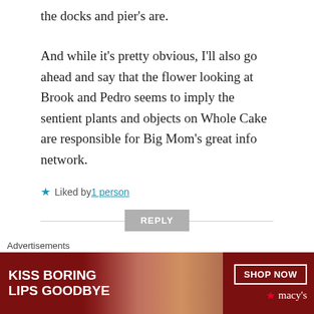the docks and pier's are.
And while it's pretty obvious, I'll also go ahead and say that the flower looking at Brook and Pedro seems to imply the sentient plants and objects on Whole Cake are responsible for Big Mom's great info network.
★ Liked by 1 person
REPLY
[Figure (screenshot): Advertisement banner: KISS BORING LIPS GOODBYE with SHOP NOW button and Macys star logo on dark red background]
Advertisements